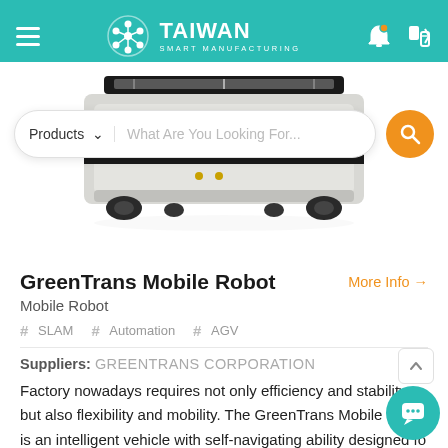TAIWAN SMART MANUFACTURING
[Figure (photo): GreenTrans Mobile Robot product photo — a flat, low-profile autonomous mobile robot (AMV/AGV) with a white/grey body viewed from above at an angle, with a dark sensor bar on top.]
GreenTrans Mobile Robot
More Info →
Mobile Robot
# SLAM
# Automation
# AGV
Suppliers: GREENTRANS CORPORATION
Factory nowadays requires not only efficiency and stability but also flexibility and mobility. The GreenTrans Mobile Robot is an intelligent vehicle with self-navigating ability designed for rapid changing environments in factories and